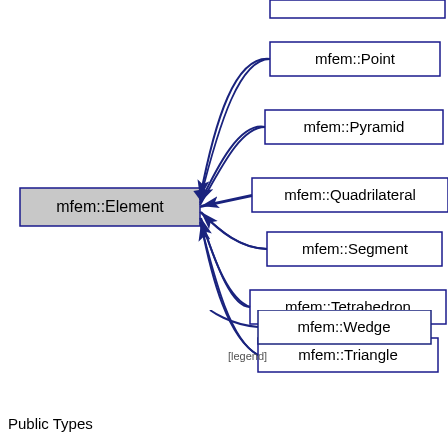[Figure (organizational-chart): Inheritance diagram showing mfem::Element as the parent class with arrows pointing from child classes: mfem::Point, mfem::Pyramid, mfem::Quadrilateral, mfem::Segment, mfem::Tetrahedron, mfem::Triangle, mfem::Wedge. There is also a partially visible node at the top. Arrows are dark blue with arrowheads pointing to mfem::Element.]
[legend]
Public Types